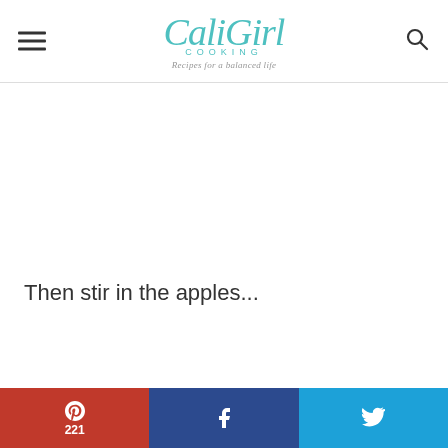CaliGirl COOKING - Recipes for a balanced life
Then stir in the apples...
Pinterest 221 | Facebook | Twitter